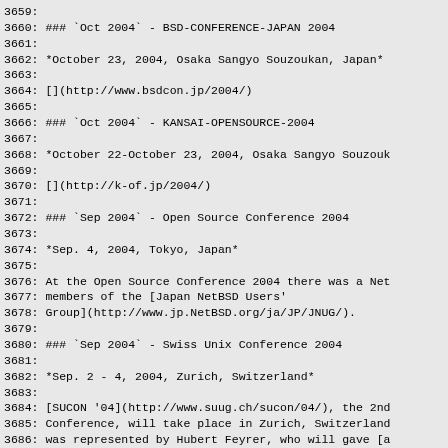3659:
3660: ### `Oct 2004` - BSD-CONFERENCE-JAPAN 2004
3661:
3662: *October 23, 2004, Osaka Sangyo Souzoukan, Japan*
3663:
3664: [](http://www.bsdcon.jp/2004/)
3665:
3666: ### `Oct 2004` - KANSAI-OPENSOURCE-2004
3667:
3668: *October 22-October 23, 2004, Osaka Sangyo Souzouk
3669:
3670: [](http://k-of.jp/2004/)
3671:
3672: ### `Sep 2004` - Open Source Conference 2004
3673:
3674: *Sep. 4, 2004, Tokyo, Japan*
3675:
3676: At the Open Source Conference 2004 there was a Net
3677: members of the [Japan NetBSD Users'
3678: Group](http://www.jp.NetBSD.org/ja/JP/JNUG/).
3679:
3680: ### `Sep 2004` - Swiss Unix Conference 2004
3681:
3682: *Sep. 2 - 4, 2004, Zurich, Switzerland*
3683:
3684: [SUCON '04](http://www.suug.ch/sucon/04/), the 2nd
3685: Conference, will take place in Zurich, Switzerland
3686: was represented by Hubert Feyrer, who will gave [a
3687: presentation](http://www.feyrer.de/NetBSD/sucon-ne
3688: conference.